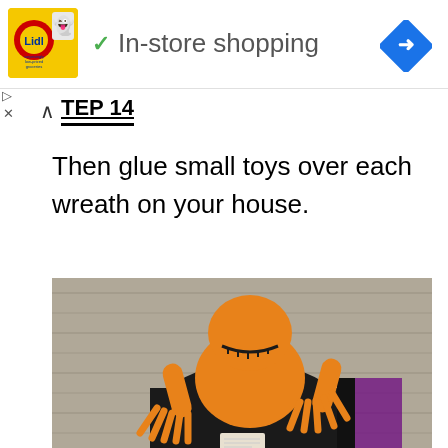[Figure (screenshot): Advertisement banner showing Lidl logo with ghost icon, checkmark, and 'In-store shopping' text, with a blue navigation diamond icon on the right]
TEP 14
Then glue small toys over each wreath on your house.
[Figure (photo): Close-up photo of an orange Halloween monster/skeleton toy figure with clawed hands and a stitched grin mouth, wearing a black robe with purple accent, against a grey wooden background]